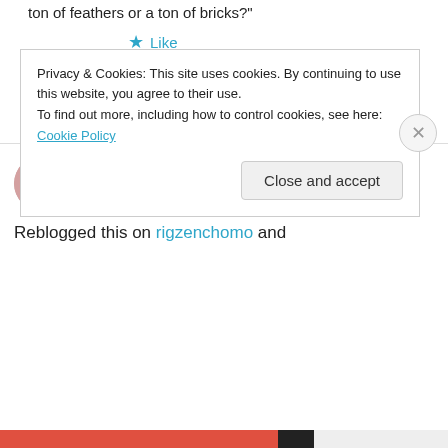ton of feathers or a ton of bricks?"
★ Like
↳ Reply
skywalkerstoryteller on June 5, 2014 at 12:52 pm
Reblogged this on rigzenchomo and
Privacy & Cookies: This site uses cookies. By continuing to use this website, you agree to their use.
To find out more, including how to control cookies, see here: Cookie Policy
Close and accept